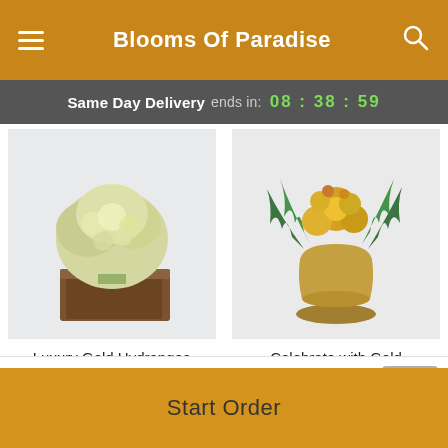Blooms Of Paradise
Same Day Delivery ends in: 08 : 38 : 59
[Figure (photo): Luxury Gold Hydrangea flower arrangement in a dark wooden box with white and yellow-green hydrangea blooms]
Luxury Gold Hydrangea
From C$59.95
[Figure (photo): Celebrate with Gold flower arrangement in a gold vase with yellow flowers and green ferns]
Celebrate with Gold
From C$59.95
POWERED BY lovingly
Start Order